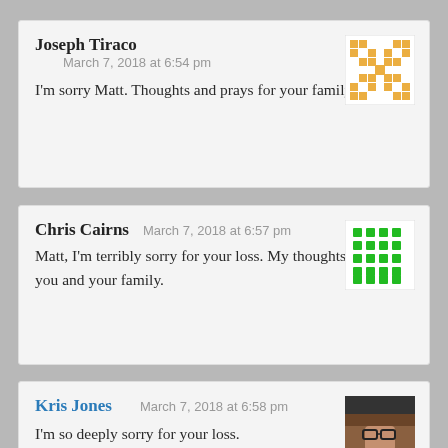Joseph Tiraco
March 7, 2018 at 6:54 pm
I'm sorry Matt. Thoughts and prays for your family. RIP
Chris Cairns    March 7, 2018 at 6:57 pm
Matt, I'm terribly sorry for your loss. My thoughts are with you and your family.
Kris Jones    March 7, 2018 at 6:58 pm
I'm so deeply sorry for your loss.
Keith Woeltje